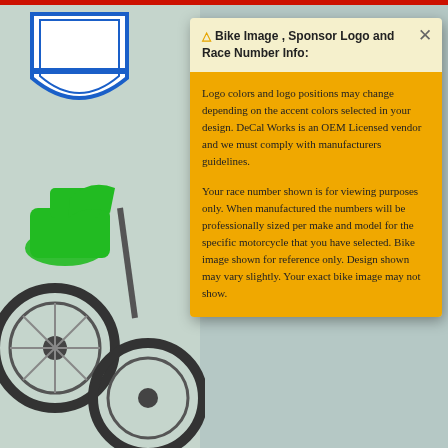[Figure (screenshot): Screenshot of a motorcycle decal customization website. Left portion shows a green motocross bike with a shield/number plate graphic. A yellow modal popup overlay is visible with a warning about bike image, sponsor logo and race number info. Below are color swatches in red, gray, tan, and brown tones. A 'My Custom Logos' section and blue chat button appear at the bottom.]
⚠ Bike Image , Sponsor Logo and Race Number Info:
Logo colors and logo positions may change depending on the accent colors selected in your design. DeCal Works is an OEM Licensed vendor and we must comply with manufacturers guidelines.
Your race number shown is for viewing purposes only. When manufactured the numbers will be professionally sized per make and model for the specific motorcycle that you have selected. Bike image shown for reference only. Design shown may vary slightly. Your exact bike image may not show.
🖐 My Custom Logos
🖐 Back to top